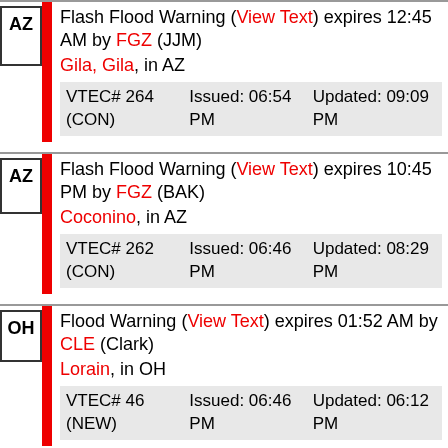AZ Flash Flood Warning (View Text) expires 12:45 AM by FGZ (JJM) Gila, Gila, in AZ VTEC# 264 (CON) Issued: 06:54 PM Updated: 09:09 PM
AZ Flash Flood Warning (View Text) expires 10:45 PM by FGZ (BAK) Coconino, in AZ VTEC# 262 (CON) Issued: 06:46 PM Updated: 08:29 PM
OH Flood Warning (View Text) expires 01:52 AM by CLE (Clark) Lorain, in OH VTEC# 46 (NEW) Issued: 06:46 PM Updated: 06:12 PM